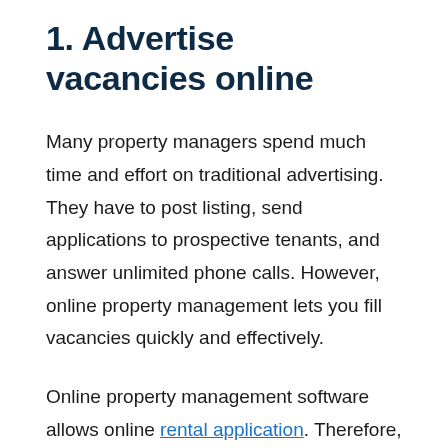1. Advertise vacancies online
Many property managers spend much time and effort on traditional advertising. They have to post listing, send applications to prospective tenants, and answer unlimited phone calls. However, online property management lets you fill vacancies quickly and effectively.
Online property management software allows online rental application. Therefore, you won't